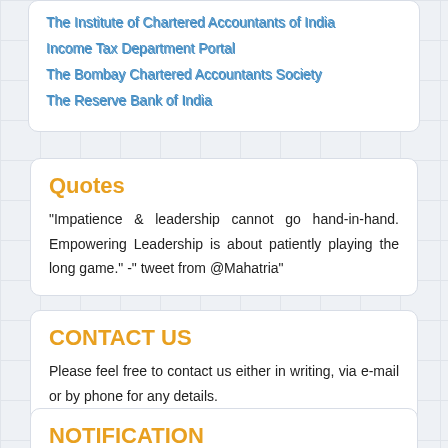The Institute of Chartered Accountants of India
Income Tax Department Portal
The Bombay Chartered Accountants Society
The Reserve Bank of India
Quotes
"Impatience & leadership cannot go hand-in-hand. Empowering Leadership is about patiently playing the long game." -" tweet from @Mahatria"
CONTACT US
Please feel free to contact us either in writing, via e-mail or by phone for any details.
NOTIFICATION